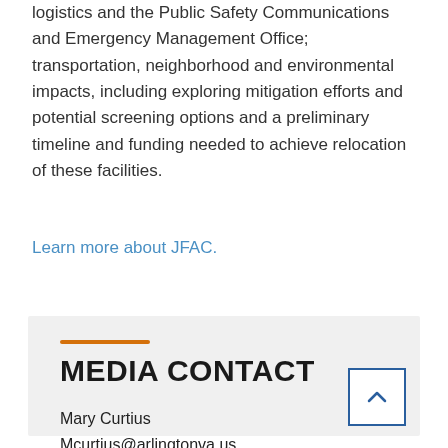logistics and the Public Safety Communications and Emergency Management Office; transportation, neighborhood and environmental impacts, including exploring mitigation efforts and potential screening options and a preliminary timeline and funding needed to achieve relocation of these facilities.
Learn more about JFAC.
MEDIA CONTACT
Mary Curtius
Mcurtius@arlingtonva.us